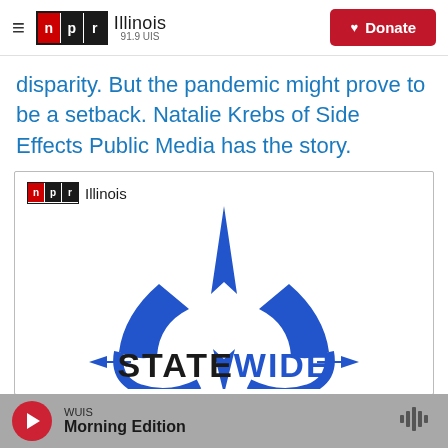NPR Illinois 91.9 UIS — Donate
disparity. But the pandemic might prove to be a setback. Natalie Krebs of Side Effects Public Media has the story.
[Figure (logo): NPR Illinois Statewide logo inside a bordered box. Shows the NPR Illinois logo in the top left corner and a large compass/arrow graphic with the word STATEWIDE below it in bold black text with blue decorative arrows.]
WUIS Morning Edition